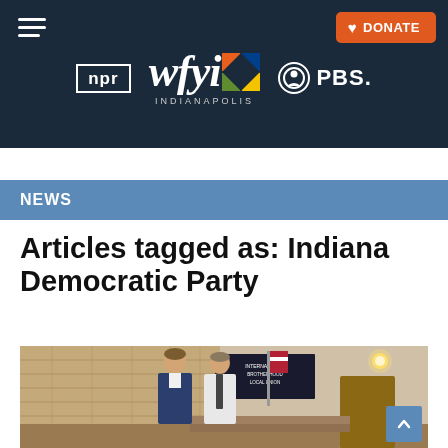WFYI Indianapolis — NPR | PBS
NEWS
Articles tagged as: Indiana Democratic Party
[Figure (photo): Two men standing at a podium in what appears to be a union hall or government building. One man in a navy blazer speaks while the other in a white shirt and tie stands nearby. A flag and a sign with text are visible in the background.]